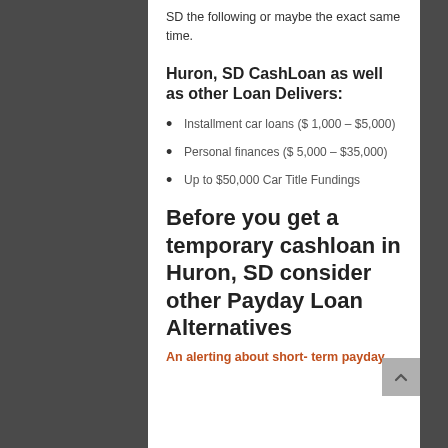SD the following or maybe the exact same time.
Huron, SD CashLoan as well as other Loan Delivers:
Installment car loans ($ 1,000 – $5,000)
Personal finances ($ 5,000 – $35,000)
Up to $50,000 Car Title Fundings
Before you get a temporary cashloan in Huron, SD consider other Payday Loan Alternatives
An alerting about short- term payday